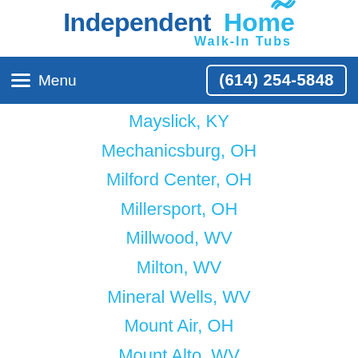[Figure (logo): Independent Home Walk-In Tubs logo with wave icon]
Menu | (614) 254-5848
Mayslick, KY
Mechanicsburg, OH
Milford Center, OH
Millersport, OH
Millwood, WV
Milton, WV
Mineral Wells, WV
Mount Air, OH
Mount Alto, WV
Mount Gilead, OH
Mount Liberty, OH